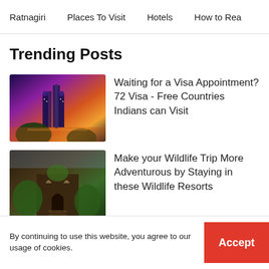Ratnagiri   Places To Visit   Hotels   How to Rea
Trending Posts
[Figure (photo): Night cityscape with twin towers (Petronas Towers, Kuala Lumpur) illuminated against a colorful sunset sky]
Waiting for a Visa Appointment? 72 Visa - Free Countries Indians can Visit
[Figure (photo): A treehouse-style wooden cabin surrounded by lush green forest vegetation]
Make your Wildlife Trip More Adventurous by Staying in these Wildlife Resorts
[Figure (photo): Colorful lanterns hanging at night in Vietnam]
Visit the Famous Vietnam in September to Celebrate the Lantern
By continuing to use this website, you agree to our usage of cookies.